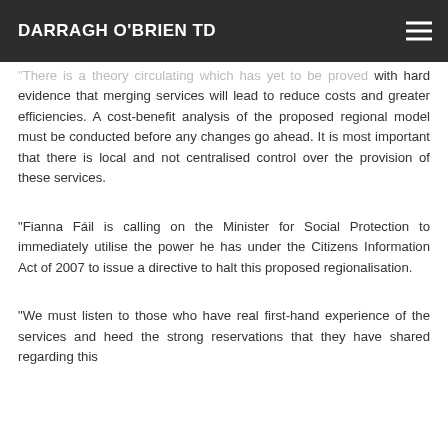DARRAGH O'BRIEN TD
"There is a theory circulating which has yet to be proved with hard evidence that merging services will lead to reduce costs and greater efficiencies. A cost-benefit analysis of the proposed regional model must be conducted before any changes go ahead. It is most important that there is local and not centralised control over the provision of these services.
"Fianna Fáil is calling on the Minister for Social Protection to immediately utilise the power he has under the Citizens Information Act of 2007 to issue a directive to halt this proposed regionalisation.
"We must listen to those who have real first-hand experience of the services and heed the strong reservations that they have shared regarding this